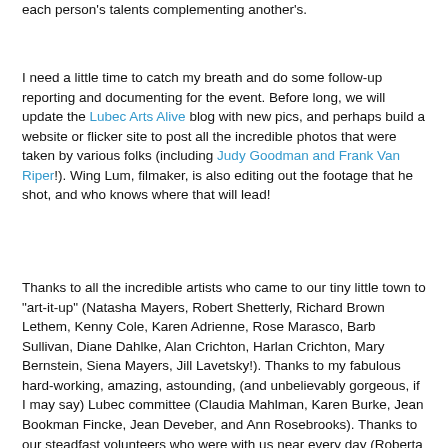each person's talents complementing another's.
I need a little time to catch my breath and do some follow-up reporting and documenting for the event. Before long, we will update the Lubec Arts Alive blog with new pics, and perhaps build a website or flicker site to post all the incredible photos that were taken by various folks (including Judy Goodman and Frank Van Riper!). Wing Lum, filmaker, is also editing out the footage that he shot, and who knows where that will lead!
Thanks to all the incredible artists who came to our tiny little town to "art-it-up" (Natasha Mayers, Robert Shetterly, Richard Brown Lethem, Kenny Cole, Karen Adrienne, Rose Marasco, Barb Sullivan, Diane Dahlke, Alan Crichton, Harlan Crichton, Mary Bernstein, Siena Mayers, Jill Lavetsky!). Thanks to my fabulous hard-working, amazing, astounding, (and unbelievably gorgeous, if I may say) Lubec committee (Claudia Mahlman, Karen Burke, Jean Bookman Fincke, Jean Deveber, and Ann Rosebrooks). Thanks to our steadfast volunteers who were with us near every day (Roberta Cantlon, Judy Heyer, and that amazing family from